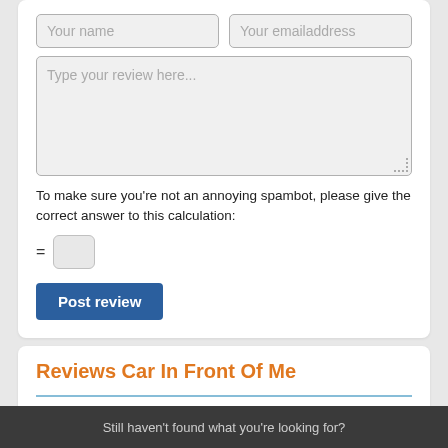Your name
Your emailaddress
Type your review here...
To make sure you're not an annoying spambot, please give the correct answer to this calculation:
Post review
Reviews Car In Front Of Me
No reviews yet! Be the first to make a contribution!
Still haven't found what you're looking for?